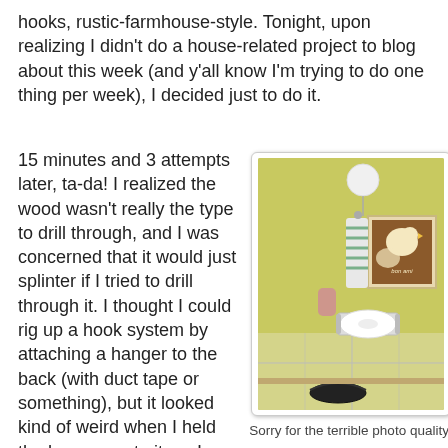hooks, rustic-farmhouse-style. Tonight, upon realizing I didn't do a house-related project to blog about this week (and y'all know I'm trying to do one thing per week), I decided just to do it.
15 minutes and 3 attempts later, ta-da! I realized the wood wasn't really the type to drill through, and I was concerned that it would just splinter if I tried to drill through it. I thought I could rig up a hook system by attaching a hanger to the back (with duct tape or something), but it looked kind of weird when I held the hanger up to it, so I nixed that idea. I then
[Figure (photo): A bathroom scene on a yellow wall showing a round white light fixture, a striped towel on a hook, a vintage Bon Ami advertisement framed print, a toilet paper roll holder, and a small black soap dish on the counter.]
Sorry for the terrible photo quality.